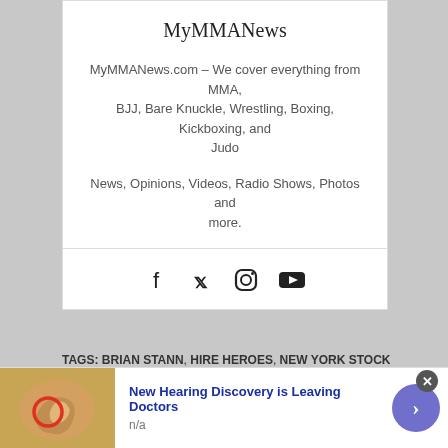MyMMANews
MyMMANews.com – We cover everything from MMA, BJJ, Bare Knuckle, Wrestling, Boxing, Kickboxing, and Judo
News, Opinions, Videos, Radio Shows, Photos and more.
[Figure (infographic): Social media icons: Facebook, Twitter, Instagram, YouTube]
TAGS: BRIAN STANN, HIRE HEROES, NEW YORK STOCK EXCHANGE
PREVIOUS
[Figure (infographic): Advertisement banner: New Hearing Discovery is Leaving Doctors, n/a, with ear anatomy image and arrow button]